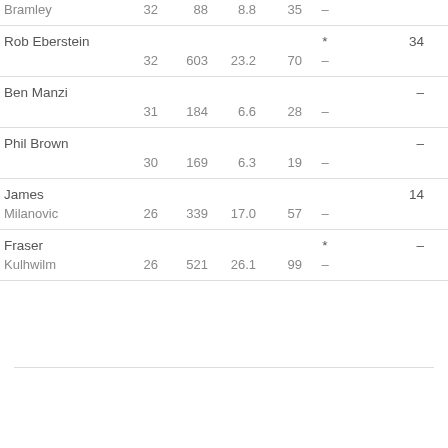| Name |  |  |  |  |  |  |  |  |  |
| --- | --- | --- | --- | --- | --- | --- | --- | --- | --- |
| Bramley | 32 | 88 | 8.8 | 35 | – |  |  | 24.5 | – |
| Rob Eberstein |  |  |  |  | * |  | 34 |  |  |
|  | 32 | 603 | 23.2 | 70 | – |  |  | 19.9 | 1 |
| Ben Manzi |  |  |  |  |  |  | – |  |  |
|  | 31 | 184 | 6.6 | 28 | – |  |  | – | – |
| Phil Brown |  |  |  |  |  |  | – |  |  |
|  | 30 | 169 | 6.3 | 19 | – |  |  | – | – |
| James |  |  |  |  |  |  | 14 |  |  |
| Milanovic | 26 | 339 | 17.0 | 57 | – |  |  | 31.0 | – |
| Fraser |  |  |  |  | * |  | – |  |  |
| Kulhwilm | 26 | 521 | 26.1 | 99 | – |  |  | – | – |